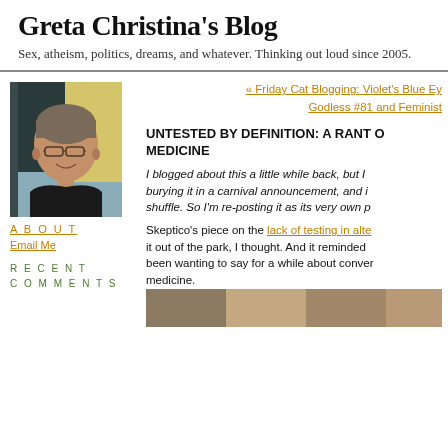Greta Christina's Blog
Sex, atheism, politics, dreams, and whatever. Thinking out loud since 2005.
[Figure (photo): Portrait photo of a woman with short grey-brown hair and glasses, smiling, wearing a black top, with a yellow house exterior visible in the background]
ABOUT
Email Me
RECENT COMMENTS
« Friday Cat Blogging: Violet's Blue Ey
Godless #81 and Feminist
UNTESTED BY DEFINITION: A RANT O MEDICINE
I blogged about this a little while back, but I burying it in a carnival announcement, and i shuffle. So I'm re-posting it as its very own p
Skeptico's piece on the lack of testing in alte it out of the park, I thought. And it reminded been wanting to say for a while about conver medicine.
[Figure (photo): Partial bottom image, cropped]